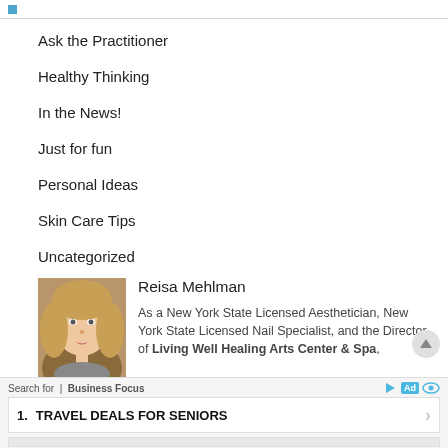Ask the Practitioner
Healthy Thinking
In the News!
Just for fun
Personal Ideas
Skin Care Tips
Uncategorized
[Figure (photo): Portrait photo of Reisa Mehlman, a woman with blonde hair]
Reisa Mehlman

As a New York State Licensed Aesthetician, New York State Licensed Nail Specialist, and the Director of Living Well Healing Arts Center & Spa, Reisa combines her love of spa services and healing arts to achieve optimum skin and nail health, create greater overall
Search for | Business Focus
1. TRAVEL DEALS FOR SENIORS